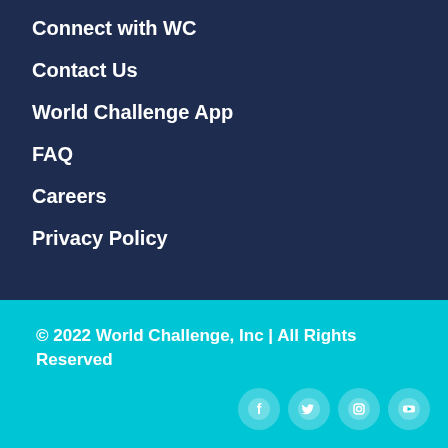Connect with WC
Contact Us
World Challenge App
FAQ
Careers
Privacy Policy
© 2022 World Challenge, Inc | All Rights Reserved